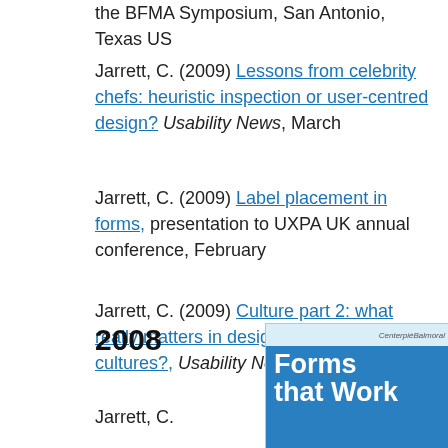the BFMA Symposium, San Antonio, Texas US
Jarrett, C. (2009) Lessons from celebrity chefs: heuristic inspection or user-centred design? Usability News, March
Jarrett, C. (2009) Label placement in forms, presentation to UXPA UK annual conference, February
Jarrett, C. (2009) Culture part 2: what really matters in designing for different cultures?, Usability News, January
2008
[Figure (photo): Book cover for 'Forms that Work' — blue background with white bold title text and a small decorative header area]
Jarrett, C.